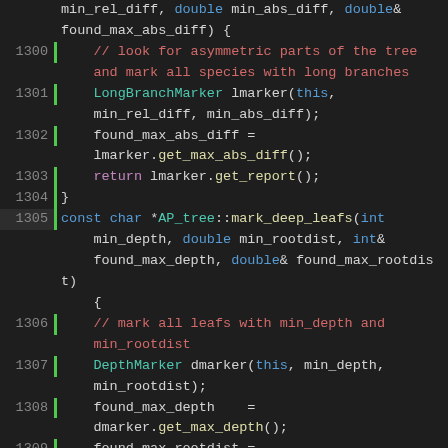[Figure (screenshot): Source code editor showing C++ code lines 1300-1321, with syntax highlighting. Dark background IDE view with green vertical bar line markers, line numbers in grey, and colored syntax tokens.]